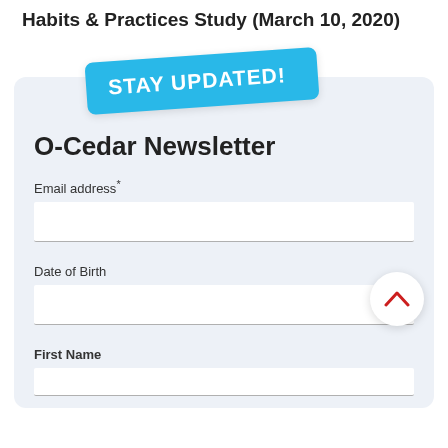Findings in Linkage Research Report: Spray Mop Habits & Practices Study (March 10, 2020)
[Figure (infographic): Cyan/blue badge with text STAY UPDATED! in white uppercase bold handwritten-style font, rotated slightly counterclockwise]
O-Cedar Newsletter
Email address*
Date of Birth
First Name